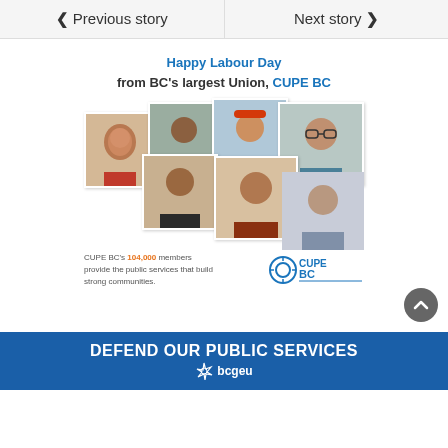< Previous story
Next story >
[Figure (infographic): CUPE BC Labour Day promotional graphic showing collage of diverse workers with text 'Happy Labour Day from BC's largest Union, CUPE BC' and CUPE BC logo. Text reads: CUPE BC's 104,000 members provide the public services that build strong communities.]
DEFEND OUR PUBLIC SERVICES
[Figure (logo): BCGEU logo with star/snowflake icon and text 'bcgeu']